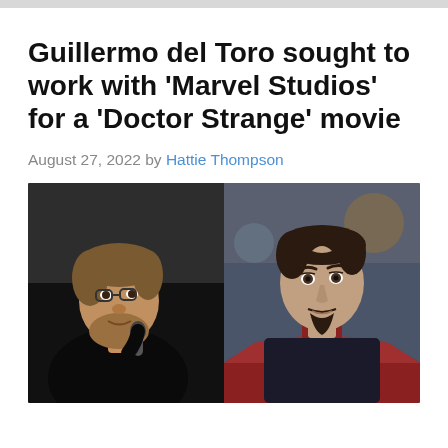Guillermo del Toro sought to work with ‘Marvel Studios’ for a ‘Doctor Strange’ movie
August 27, 2022 by Hattie Thompson
[Figure (photo): Side-by-side photo: on the left, Guillermo del Toro speaking into a microphone wearing a black sweater; on the right, Benedict Cumberbatch as Doctor Strange wearing a red cloak, looking serious.]